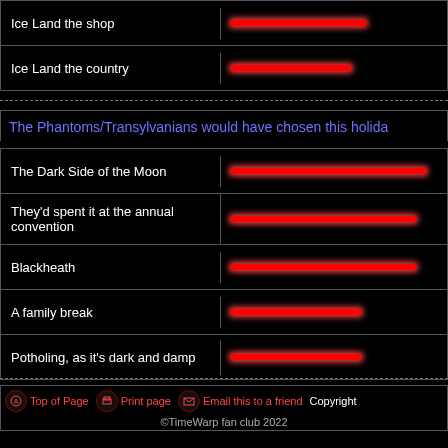|  |  |
| --- | --- |
| Ice Land the shop | [red bar ~55%] |
| Ice Land the country | [red bar ~50%] |
The Phantoms/Transylvanians would have chosen this holida
|  |  |
| --- | --- |
| The Dark Side of the Moon | [red bar ~100%] |
| They'd spent it at the annual convention | [red bar ~90%] |
| Blackheath | [red bar ~90%] |
| A family break | [red bar ~55%] |
| Potholing, as it's dark and damp | [red bar ~55%] |
Top of Page  Print page  Email this to a friend  Copyright  ©TimeWarp fan club 2022